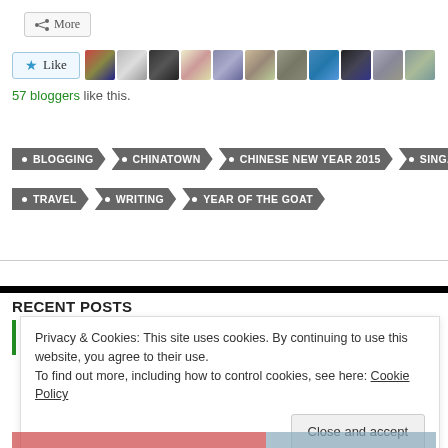[Figure (screenshot): Share/More button with icon]
[Figure (screenshot): Like button with star icon and row of 11 blogger avatar thumbnails]
57 bloggers like this.
BLOGGING
CHINATOWN
CHINESE NEW YEAR 2015
SINGAPORE
TRAVEL
WRITING
YEAR OF THE GOAT
RECENT POSTS
Privacy & Cookies: This site uses cookies. By continuing to use this website, you agree to their use.
To find out more, including how to control cookies, see here: Cookie Policy
Close and accept